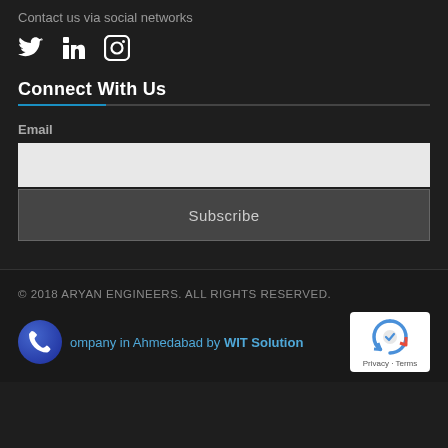Contact us via social networks
[Figure (illustration): Social media icons: Twitter bird, LinkedIn 'in', Instagram camera]
Connect With Us
Email
[Figure (screenshot): Email input text field (light grey background)]
[Figure (screenshot): Subscribe button (dark grey with border)]
© 2018 ARYAN ENGINEERS. ALL RIGHTS RESERVED.
ompany in Ahmedabad by WIT Solution
[Figure (logo): reCAPTCHA badge with Privacy · Terms text]